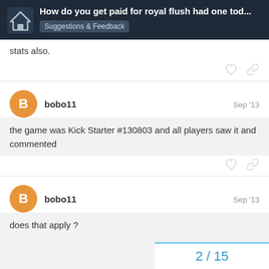How do you get paid for royal flush had one tod... | Suggestions & Feedback
stats also.
bobo11  Sep '13
the game was Kick Starter #130803 and all players saw it and commented
bobo11  Sep '13
does that apply ?
2 / 15